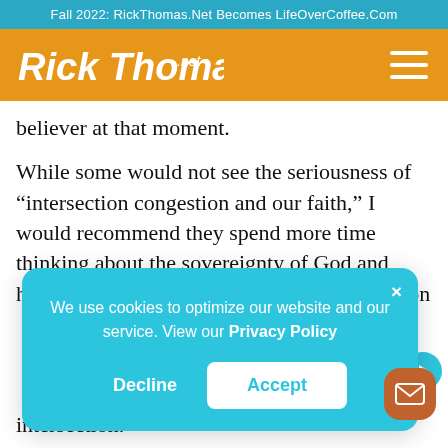Fall 2022: RickThomas.Net Becomes LifeOverCoffee.Com
[Figure (logo): Rick Thomas .net logo in white script on orange header bar with hamburger menu icon]
believer at that moment.
While some would not see the seriousness of “intersection congestion and our faith,” I would recommend they spend more time thinking about the sovereignty of God and how all of life is our opportunity to put God on
We use cookies to optimize our website and our service. View our Privacy Policy
Decline
Accept
intersection.